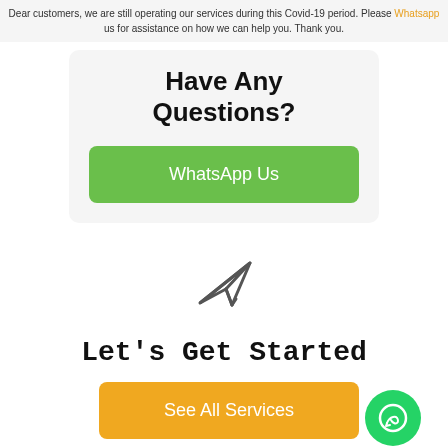Dear customers, we are still operating our services during this Covid-19 period. Please Whatsapp us for assistance on how we can help you. Thank you.
Have Any Questions?
[Figure (other): Green WhatsApp Us button]
[Figure (other): Paper plane / send icon outline]
Let's Get Started
[Figure (other): Orange See All Services button with green WhatsApp circle icon on the right]